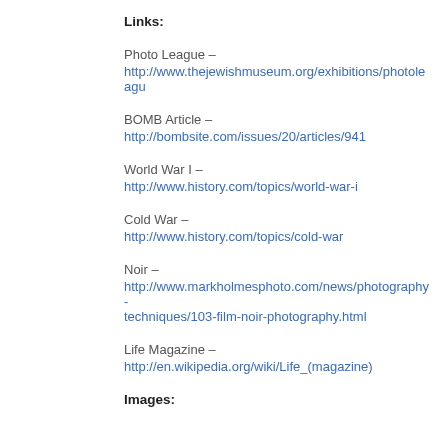Links:
Photo League – http://www.thejewishmuseum.org/exhibitions/photoleague
BOMB Article – http://bombsite.com/issues/20/articles/941
World War I – http://www.history.com/topics/world-war-i
Cold War – http://www.history.com/topics/cold-war
Noir – http://www.markholmesphoto.com/news/photography-techniques/103-film-noir-photography.html
Life Magazine – http://en.wikipedia.org/wiki/Life_(magazine)
Images: